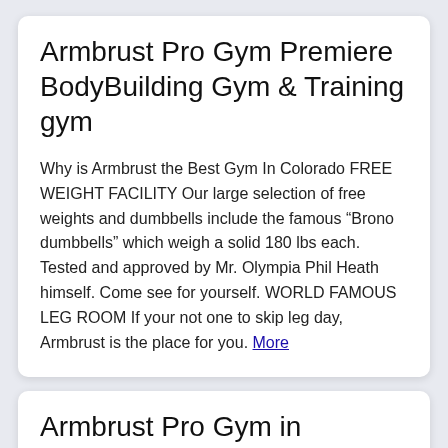Armbrust Pro Gym Premiere BodyBuilding Gym & Training gym
Why is Armbrust the Best Gym In Colorado FREE WEIGHT FACILITY Our large selection of free weights and dumbbells include the famous “Brono dumbbells” which weigh a solid 180 lbs each. Tested and approved by Mr. Olympia Phil Heath himself. Come see for yourself. WORLD FAMOUS LEG ROOM If your not one to skip leg day, Armbrust is the place for you. More
Armbrust Pro Gym in Lakewood, CO with Reviews - YP.com